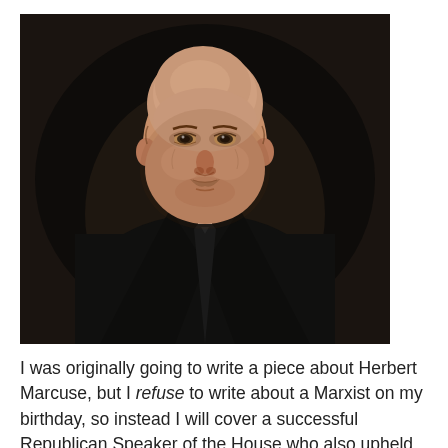[Figure (photo): Oil portrait painting of a bald, middle-aged man with a moustache wearing a dark suit and black tie against a dark background.]
I was originally going to write a piece about Herbert Marcuse, but I refuse to write about a Marxist on my birthday, so instead I will cover a successful Republican Speaker of the House who also upheld our institutions.